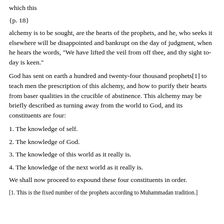which this
{p. 18}
alchemy is to be sought, are the hearts of the prophets, and he, who seeks it elsewhere will be disappointed and bankrupt on the day of judgment, when he hears the words, "We have lifted the veil from off thee, and thy sight to-day is keen."
God has sent on earth a hundred and twenty-four thousand prophets[1] to teach men the prescription of this alchemy, and how to purify their hearts from baser qualities in the crucible of abstinence. This alchemy may be briefly described as turning away from the world to God, and its constituents are four:
1. The knowledge of self.
2. The knowledge of God.
3. The knowledge of this world as it really is.
4. The knowledge of the next world as it really is.
We shall now proceed to expound these four constituents in order.
[1. This is the fixed number of the prophets according to Muhammadan tradition.]